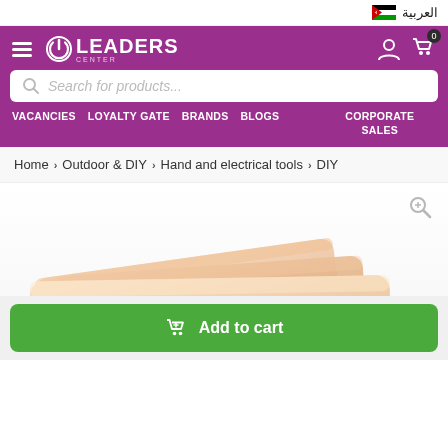العربية
[Figure (logo): Leaders Center logo with power icon and white text on purple background]
Search for products...
VACANCIES
LOYALTY GATE
BRANDS
BLOGS
CORPORATE SALES
Home > Outdoor & DIY > Hand and electrical tools > DIY
[Figure (photo): Product image showing peach/beige colored soap bars or plastic spacers stacked together]
Add to cart